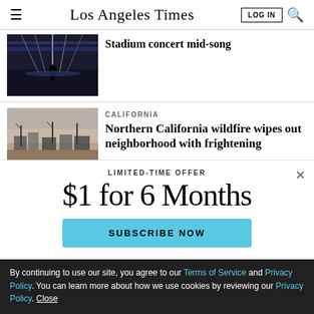Los Angeles Times
[Figure (photo): Concert stage with dramatic lighting and performer silhouette]
Stadium concert mid-song
[Figure (photo): Northern California wildfire destruction showing burned neighborhood]
CALIFORNIA
Northern California wildfire wipes out neighborhood with frightening
LIMITED-TIME OFFER
$1 for 6 Months
SUBSCRIBE NOW
By continuing to use our site, you agree to our Terms of Service and Privacy Policy. You can learn more about how we use cookies by reviewing our Privacy Policy. Close